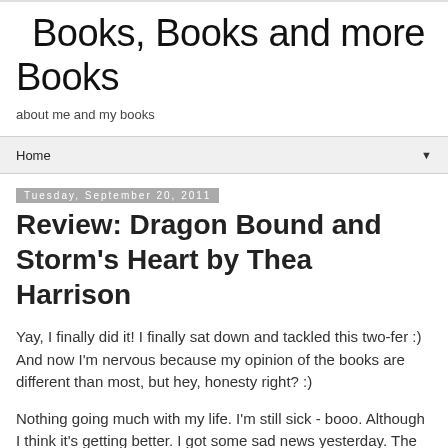Books, Books and more Books
about me and my books
Home ▼
Tuesday, September 20, 2011
Review: Dragon Bound and Storm's Heart by Thea Harrison
Yay, I finally did it! I finally sat down and tackled this two-fer :) And now I'm nervous because my opinion of the books are different than most, but hey, honesty right? :)
Nothing going much with my life. I'm still sick - booo. Although I think it's getting better. I got some sad news yesterday. The Father for whom I used to send emails for